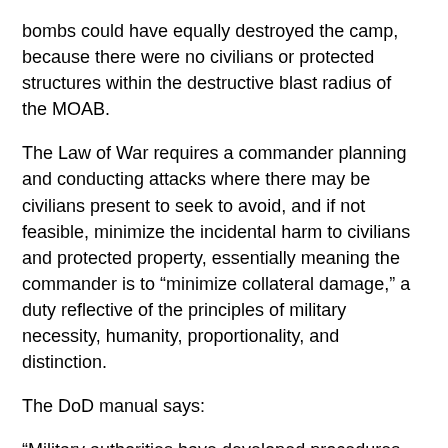bombs could have equally destroyed the camp, because there were no civilians or protected structures within the destructive blast radius of the MOAB.
The Law of War requires a commander planning and conducting attacks where there may be civilians present to seek to avoid, and if not feasible, minimize the incidental harm to civilians and protected property, essentially meaning the commander is to “minimize collateral damage,” a duty reflective of the principles of military necessity, humanity, proportionality, and distinction.
The DoD manual says:
“Military authorities have developed procedures to assess before an attack the expected collateral damage